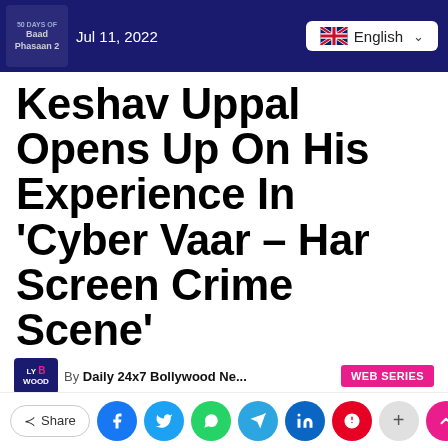Jul 11, 2022 | English
Keshav Uppal Opens Up On His Experience In ‘Cyber Vaar – Har Screen Crime Scene’
By Daily 24x7 Bollywood Ne... | WEB SERIES
— Published on Jun 18, 2022
Web Series  Cyber Entertainment  Mumbai Scenes  Keshav Uppal
Share